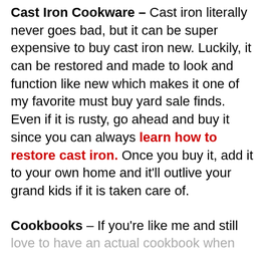Cast Iron Cookware – Cast iron literally never goes bad, but it can be super expensive to buy cast iron new. Luckily, it can be restored and made to look and function like new which makes it one of my favorite must buy yard sale finds. Even if it is rusty, go ahead and buy it since you can always learn how to restore cast iron. Once you buy it, add it to your own home and it'll outlive your grand kids if it is taken care of.
Cookbooks – If you're like me and still love to have an actual cookbook when